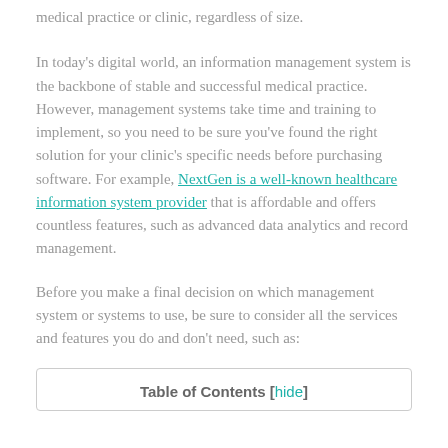medical practice or clinic, regardless of size.
In today’s digital world, an information management system is the backbone of stable and successful medical practice. However, management systems take time and training to implement, so you need to be sure you’ve found the right solution for your clinic’s specific needs before purchasing software. For example, NextGen is a well-known healthcare information system provider that is affordable and offers countless features, such as advanced data analytics and record management.
Before you make a final decision on which management system or systems to use, be sure to consider all the services and features you do and don’t need, such as:
| Table of Contents [hide] |
| --- |